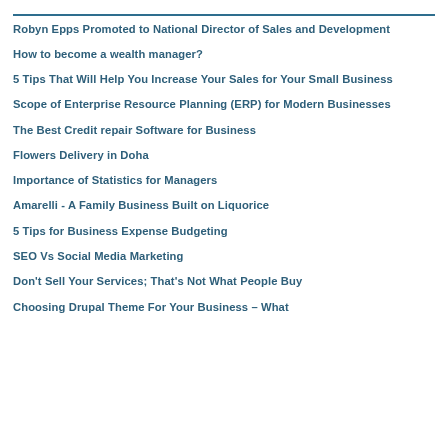Robyn Epps Promoted to National Director of Sales and Development
How to become a wealth manager?
5 Tips That Will Help You Increase Your Sales for Your Small Business
Scope of Enterprise Resource Planning (ERP) for Modern Businesses
The Best Credit repair Software for Business
Flowers Delivery in Doha
Importance of Statistics for Managers
Amarelli - A Family Business Built on Liquorice
5 Tips for Business Expense Budgeting
SEO Vs Social Media Marketing
Don't Sell Your Services; That's Not What People Buy
Choosing Drupal Theme For Your Business – What